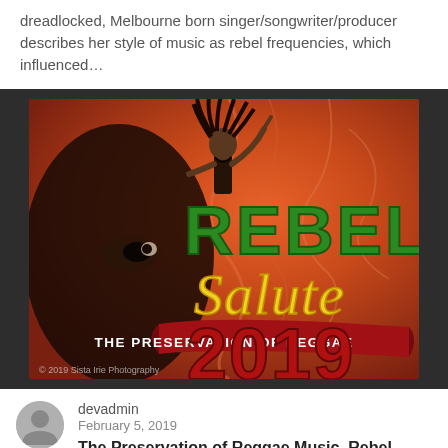dreadlocked, Melbourne born singer/songwriter/producer describes her style of music as rebel frequencies, which influenced…
[Figure (photo): Rebel Salute 2019 - The Preservation of Reggae event poster/banner showing a dreadlocked figure pointing upward, with bold stylized text 'REBEL Salute' and a ribbon banner reading 'THE PRESERVATION OF REGGAE 2019'. Photo credit: © 2019 Sista Irie Photography.]
devadmin
February 5, 2019
The Preservation of Reggae Music, Rebel